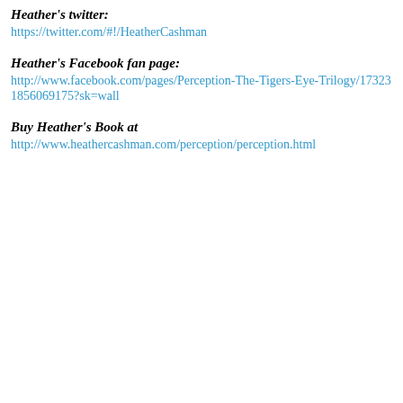Heather's twitter:
https://twitter.com/#!/HeatherCashman
Heather's Facebook fan page:
http://www.facebook.com/pages/Perception-The-Tigers-Eye-Trilogy/173231856069175?sk=wall
Buy Heather's Book at
http://www.heathercashman.com/perception/perception.html